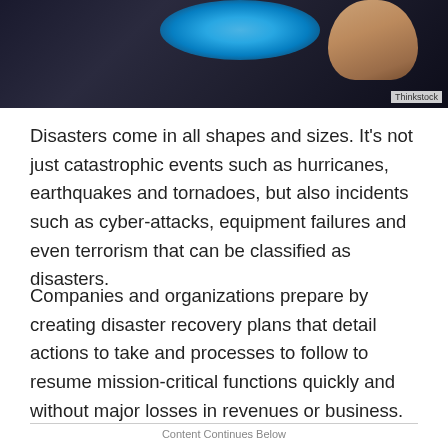[Figure (photo): Close-up photo of a finger touching a glowing blue surface, dark background. Thinkstock credit in lower right corner.]
Disasters come in all shapes and sizes. It's not just catastrophic events such as hurricanes, earthquakes and tornadoes, but also incidents such as cyber-attacks, equipment failures and even terrorism that can be classified as disasters.
Companies and organizations prepare by creating disaster recovery plans that detail actions to take and processes to follow to resume mission-critical functions quickly and without major losses in revenues or business.
Content Continues Below